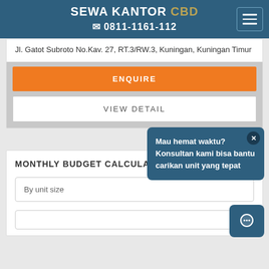SEWA KANTOR CBD | 0811-1161-112
Jl. Gatot Subroto No.Kav. 27, RT.3/RW.3, Kuningan, Kuningan Timur
ENQUIRE
VIEW DETAIL
Mau hemat waktu? Konsultan kami bisa bantu carikan unit yang tepat
MONTHLY BUDGET CALCULATOR
By unit size